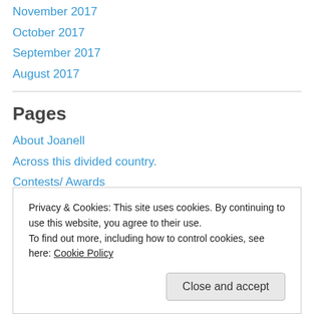November 2017
October 2017
September 2017
August 2017
Pages
About Joanell
Across this divided country.
Contests/ Awards
Home
Joanell's Author Blog – (Write. Sin. Read. Sin.)
Privacy & Cookies: This site uses cookies. By continuing to use this website, you agree to their use.
To find out more, including how to control cookies, see here: Cookie Policy
Close and accept